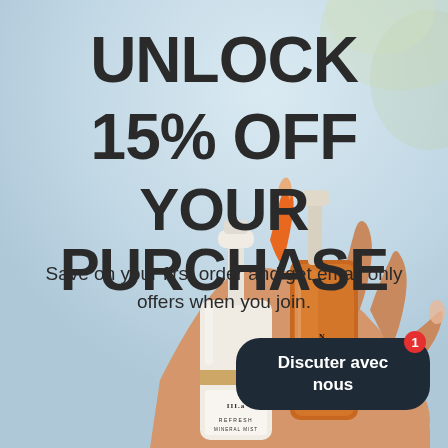[Figure (photo): A hand holding two skincare product bottles against a light blue sky background. One bottle is labeled 'REFRESH MINERAL MIST' with a gold and white design. The other is an amber/orange bottle. An orange brush or applicator is visible between them.]
UNLOCK 15% OFF YOUR PURCHASE
Save on your first order and get email only offers when you join.
Discuter avec nous